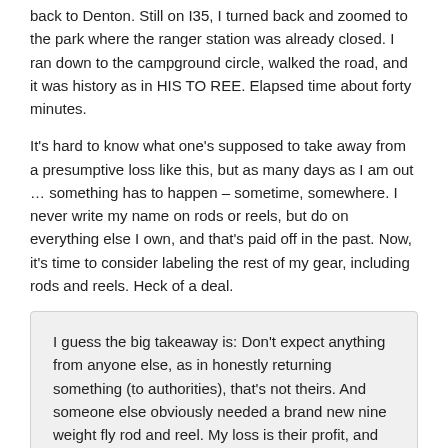back to Denton. Still on I35, I turned back and zoomed to the park where the ranger station was already closed. I ran down to the campground circle, walked the road, and it was history as in HIS TO REE. Elapsed time about forty minutes.
It's hard to know what one's supposed to take away from a presumptive loss like this, but as many days as I am out … something has to happen – sometime, somewhere. I never write my name on rods or reels, but do on everything else I own, and that's paid off in the past. Now, it's time to consider labeling the rest of my gear, including rods and reels. Heck of a deal.
I guess the big takeaway is: Don't expect anything from anyone else, as in honestly returning something (to authorities), that's not theirs. And someone else obviously needed a brand new nine weight fly rod and reel. My loss is their profit, and so it goes. That's the world we live in now. I hope they enjoy it, and learn how to use it well. A fly rod is a nine foot crack pipe after all.
One little tip I will gladly share with you here is that there are great ways of finding lost things that may surface on the internet. Of course I kept some details about this setup secret, but you can also use the power of google to create a unique and regular search...